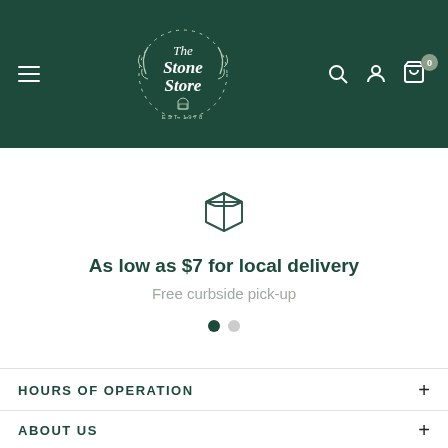The Stone Store — Navigation header with logo, hamburger menu, search, account, and cart icons
[Figure (illustration): Box/package icon (outline style) representing delivery]
As low as $7 for local delivery
Free curbside pick-up
HOURS OF OPERATION
ABOUT US